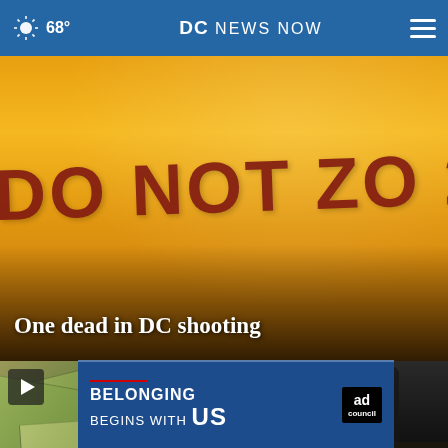68° DC NEWS NOW
[Figure (photo): Police tape (yellow crime scene tape) with dark red text reading DO NOT ZO 20/20, main story image]
One dead in DC shooting
[Figure (photo): Close-up image of US dollar bills scattered, with play button overlay. Text partially visible: DC]
[Figure (photo): Person in dark hoodie at night scene, crowd in background, play button overlay. Label: PHOTOS: with close X button]
[Figure (other): Ad banner: BELONGING BEGINS WITH US, Ad Council logo]